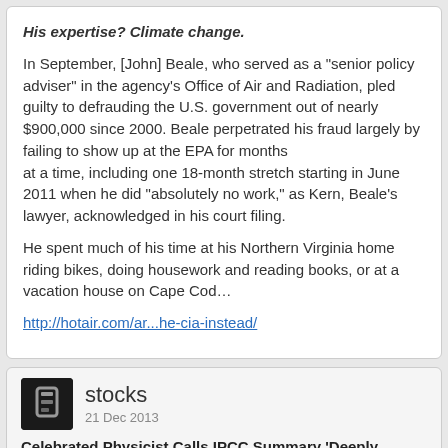His expertise? Climate change.

In September, [John] Beale, who served as a "senior policy adviser" in the agency's Office of Air and Radiation, pled guilty to defrauding the U.S. government out of nearly $900,000 since 2000. Beale perpetrated his fraud largely by failing to show up at the EPA for months at a time, including one 18-month stretch starting in June 2011 when he did "absolutely no work," as Kern, Beale's lawyer, acknowledged in his court filing.

He spent much of his time at his Northern Virginia home riding bikes, doing housework and reading books, or at a vacation house on Cape Cod…

http://hotair.com/ar...he-cia-instead/
stocks
21 Dec 2013
Celebrated Physicist Calls IPCC Summary 'Deeply Unscientific'
Pierre Darriulat -- For nearly 50 years, his professional life has